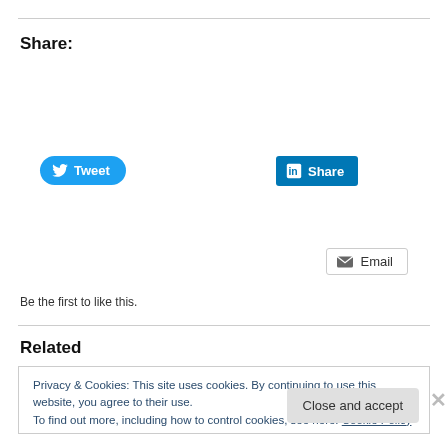Share:
[Figure (screenshot): Tweet button - blue rounded button with Twitter bird icon and 'Tweet' text]
[Figure (screenshot): LinkedIn Share button - blue button with LinkedIn 'in' logo and 'Share' text]
[Figure (screenshot): Email button - outlined button with envelope icon and 'Email' text]
[Figure (screenshot): Print button - outlined button with printer icon and 'Print' text]
[Figure (screenshot): Like button - outlined button with blue star icon and 'Like' text]
Be the first to like this.
Related
Privacy & Cookies: This site uses cookies. By continuing to use this website, you agree to their use.
To find out more, including how to control cookies, see here: Cookie Policy
[Figure (screenshot): Close and accept button at bottom right of cookie notice]